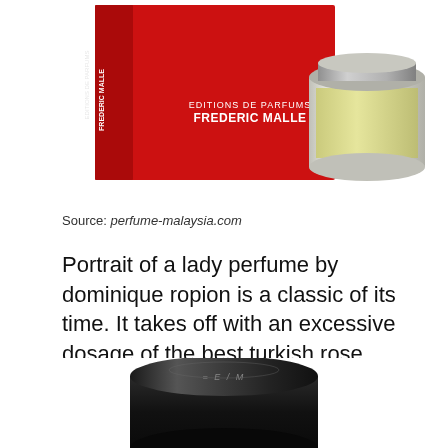[Figure (photo): Frederic Malle perfume product photo showing red box packaging labeled 'EDITIONS DE PARFUMS FREDERIC MALLE' and a glass perfume jar with pale yellow liquid]
Source: perfume-malaysia.com
Portrait of a lady perfume by dominique ropion is a classic of its time. It takes off with an excessive dosage of the best turkish rose essence that dominique ropion linked to the rest of the formula, thanks to a red berries and spice accord.
[Figure (photo): Dark black cylindrical perfume bottle cap with engraved Frederic Malle logo, viewed from above at slight angle]